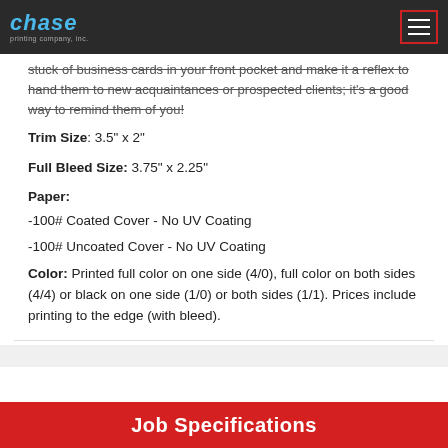Chase Printing Company, Inc.
stuck of business cards in your front pocket and make it a reflex to hand them to new acquaintances or prospected clients; it's a good way to remind them of you!
Trim Size: 3.5" x 2"
Full Bleed Size: 3.75" x 2.25"
Paper:
-100# Coated Cover - No UV Coating
-100# Uncoated Cover - No UV Coating
Color: Printed full color on one side (4/0), full color on both sides (4/4) or black on one side (1/0) or both sides (1/1). Prices include printing to the edge (with bleed).
Job Specifications